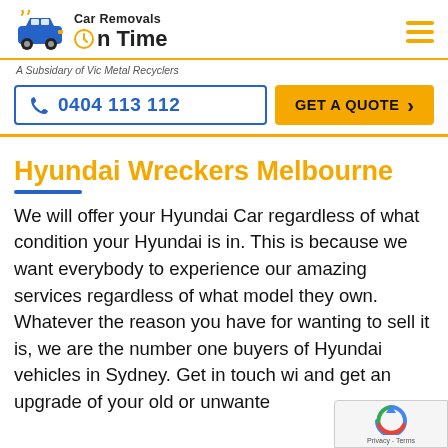Car Removals On Time — A Subsidary of Vic Metal Recyclers
0404 113 112
GET A QUOTE
Hyundai Wreckers Melbourne
We will offer your Hyundai Car regardless of what condition your Hyundai is in. This is because we want everybody to experience our amazing services regardless of what model they own. Whatever the reason you have for wanting to sell it is, we are the number one buyers of Hyundai vehicles in Sydney. Get in touch wi and get an upgrade of your old or unwante